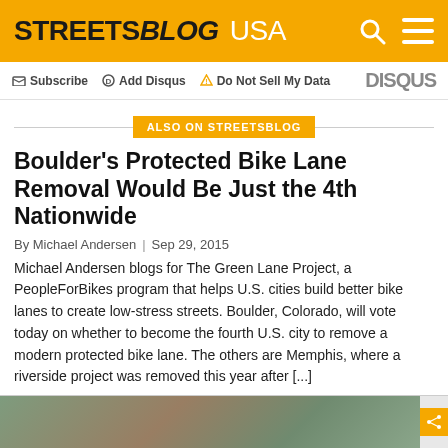STREETSBLOG USA
Subscribe  Add Disqus  Do Not Sell My Data   DISQUS
ALSO ON STREETSBLOG
Boulder's Protected Bike Lane Removal Would Be Just the 4th Nationwide
By Michael Andersen | Sep 29, 2015
Michael Andersen blogs for The Green Lane Project, a PeopleForBikes program that helps U.S. cities build better bike lanes to create low-stress streets. Boulder, Colorado, will vote today on whether to become the fourth U.S. city to remove a modern protected bike lane. The others are Memphis, where a riverside project was removed this year after [...]